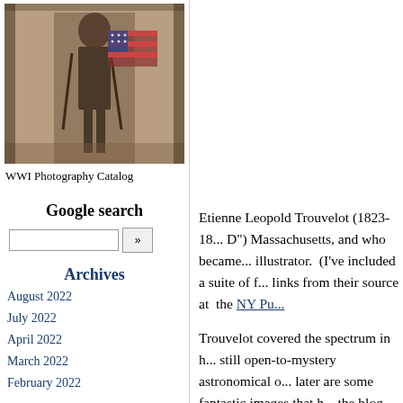[Figure (photo): Black and white WWI-era photograph showing a soldier or veteran standing with a cane next to an American flag]
WWI Photography Catalog
Google search
Archives
August 2022
July 2022
April 2022
March 2022
February 2022
Etienne Leopold Trouvelot (1823-18... D") Massachusetts, and who became... illustrator.  (I've included a suite of f... links from their source at  the NY Pu...
Trouvelot covered the spectrum in h... still open-to-mystery astronomical o... later are some fantastic images that h... the blog  Translinguisitic Order).
The image above is an example of th... terrestrial--it is an image that he mac... produced ca, 1888/9.  It was a signat...